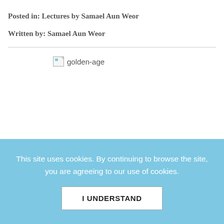Posted in: Lectures by Samael Aun Weor
Written by: Samael Aun Weor
[Figure (illustration): Broken image placeholder labeled 'golden-age']
This site uses cookies. By continuing to browse the site, you are agreeing to our use of cookies.
I UNDERSTAND